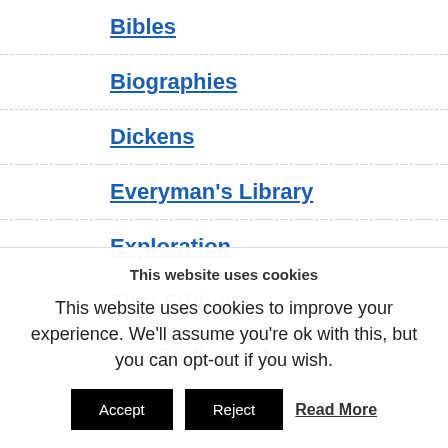Bibles
Biographies
Dickens
Everyman's Library
Exploration
First Editions
Fiction 1st
This website uses cookies
This website uses cookies to improve your experience. We'll assume you're ok with this, but you can opt-out if you wish.
Accept  Reject  Read More